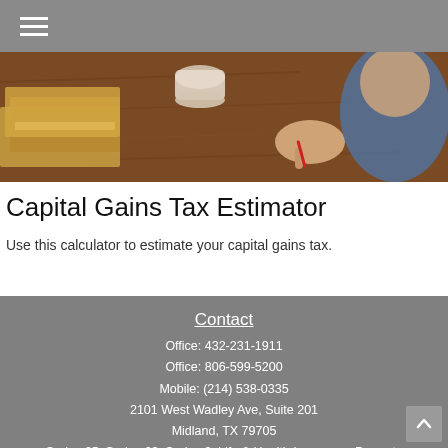≡ (navigation menu)
[Figure (photo): Person writing at a wooden desk with stacked papers/folders, a coffee cup visible, photographed from above]
Capital Gains Tax Estimator
Use this calculator to estimate your capital gains tax.
Contact
Office: 432-231-1911
Office: 806-599-5200
Mobile: (214) 538-0335
2101 West Wadley Ave, Suite 201
Midland, TX 79705
Series 65, Series 63, Series 6, Life & Health Insurance, Property & Casualty Insurance